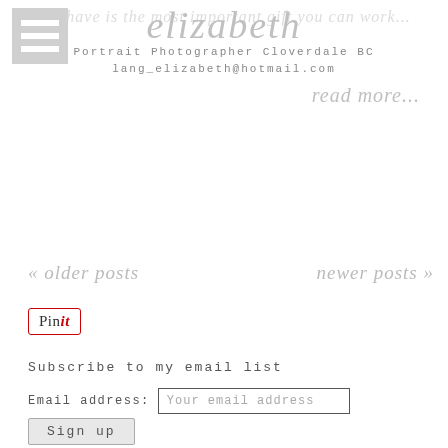elizabeth
Portrait Photographer Cloverdale BC
lang_elizabeth@hotmail.com
read more...
« older posts
newer posts »
[Figure (logo): Pin it button with red border and cursive text]
Subscribe to my email list
Email address: Your email address
Sign up